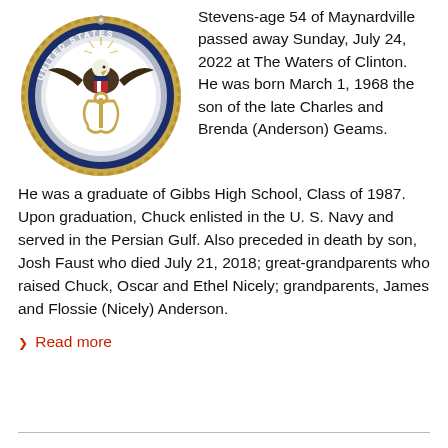[Figure (logo): United States Navy official seal/emblem medallion ornament with eagle, anchor, and navy blue and gold rope border]
Stevens-age 54 of Maynardville passed away Sunday, July 24, 2022 at The Waters of Clinton. He was born March 1, 1968 the son of the late Charles and Brenda (Anderson) Geams. He was a graduate of Gibbs High School, Class of 1987. Upon graduation, Chuck enlisted in the U. S. Navy and served in the Persian Gulf. Also preceded in death by son, Josh Faust who died July 21, 2018; great-grandparents who raised Chuck, Oscar and Ethel Nicely; grandparents, James and Flossie (Nicely) Anderson.
Read more